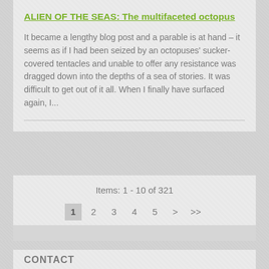ALIEN OF THE SEAS: The multifaceted octopus
It became a lengthy blog post and a parable is at hand – it seems as if I had been seized by an octopuses' sucker-covered tentacles and unable to offer any resistance was dragged down into the depths of a sea of stories. It was difficult to get out of it all. When I finally have surfaced again, I...
Items: 1 - 10 of 321
1  2  3  4  5  >  >>
CONTACT